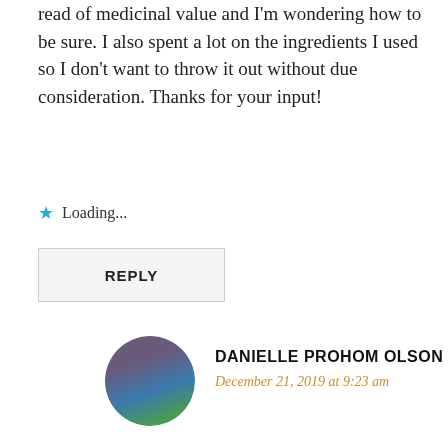read of medicinal value and I'm wondering how to be sure. I also spent a lot on the ingredients I used so I don't want to throw it out without due consideration. Thanks for your input!
Loading...
REPLY
[Figure (photo): Circular avatar photo of Danielle Prohom Olson]
DANIELLE PROHOM OLSON
December 21, 2019 at 9:23 am
oh dear! the best way to know if you have yew is to check if there were any red berries... but not all Yews have berries. There are two kinds of Yew, English and Pacific both with small 1/2 inch long needes that thin at the end of the needle to sharp tips. In general, they are much shorter than fir